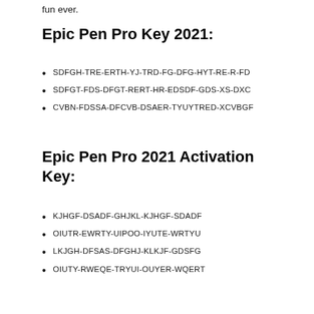fun ever.
Epic Pen Pro Key 2021:
SDFGH-TRE-ERTH-YJ-TRD-FG-DFG-HYT-RE-R-FD
SDFGT-FDS-DFGT-RERT-HR-EDSDF-GDS-XS-DXC
CVBN-FDSSA-DFCVB-DSAER-TYUYTRED-XCVBGF
Epic Pen Pro 2021 Activation Key:
KJHGF-DSADF-GHJKL-KJHGF-SDADF
OIUTR-EWRTY-UIPOO-IYUTE-WRTYU
LKJGH-DFSAS-DFGHJ-KLKJF-GDSFG
OIUTY-RWEQE-TRYUI-OUYER-WQERT